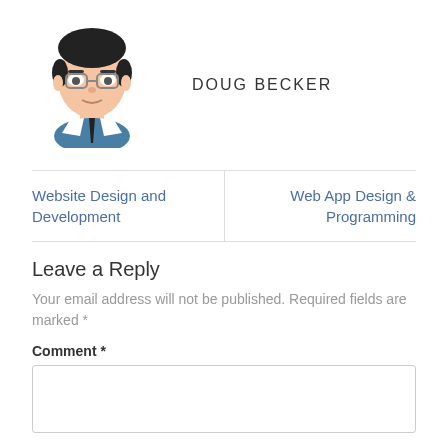[Figure (illustration): Cartoon avatar illustration of a man with glasses, dark hair, wearing a suit with white collar and black tie]
DOUG BECKER
| Website Design and Development | Web App Design & Programming |
Leave a Reply
Your email address will not be published. Required fields are marked *
Comment *